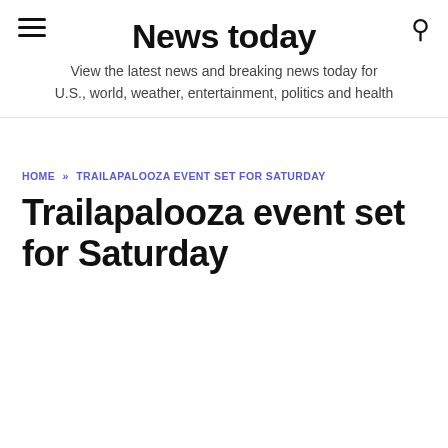News today
View the latest news and breaking news today for U.S., world, weather, entertainment, politics and health
HOME » TRAILAPALOOZA EVENT SET FOR SATURDAY
Trailapalooza event set for Saturday